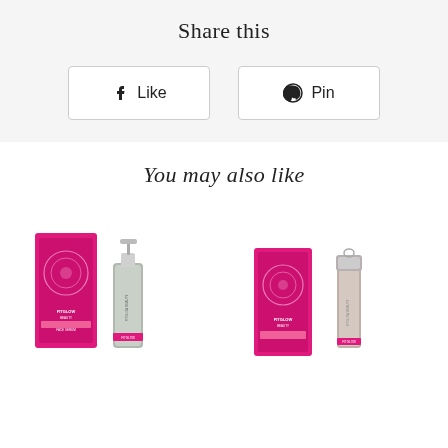Share this
[Figure (other): Facebook Like button with Facebook logo icon and text 'Like']
[Figure (other): Pinterest Pin button with Pinterest logo icon and text 'Pin']
You may also like
[Figure (photo): Fitglow Beauty product - serum/face oil with pink branded box and pump bottle]
[Figure (photo): Fitglow Beauty lip color serum with pink branded box and lip gloss tube]